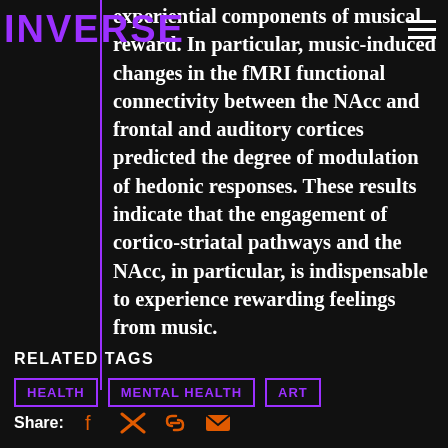INVERSE
experiential components of musical reward. In particular, music-induced changes in the fMRI functional connectivity between the NAcc and frontal and auditory cortices predicted the degree of modulation of hedonic responses. These results indicate that the engagement of cortico-striatal pathways and the NAcc, in particular, is indispensable to experience rewarding feelings from music.
RELATED TAGS
HEALTH
MENTAL HEALTH
ART
Share: